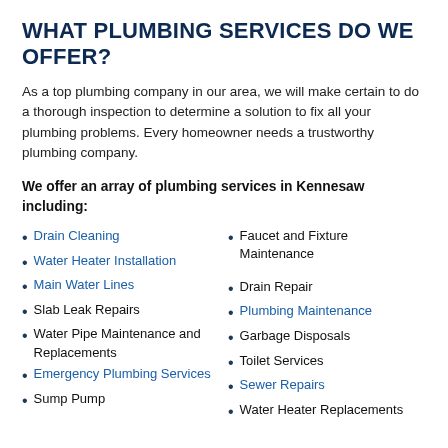WHAT PLUMBING SERVICES DO WE OFFER?
As a top plumbing company in our area, we will make certain to do a thorough inspection to determine a solution to fix all your plumbing problems. Every homeowner needs a trustworthy plumbing company.
We offer an array of plumbing services in Kennesaw including:
Drain Cleaning
Water Heater Installation
Main Water Lines
Slab Leak Repairs
Water Pipe Maintenance and Replacements
Emergency Plumbing Services
Sump Pump
Faucet and Fixture Maintenance
Drain Repair
Plumbing Maintenance
Garbage Disposals
Toilet Services
Sewer Repairs
Water Heater Replacements